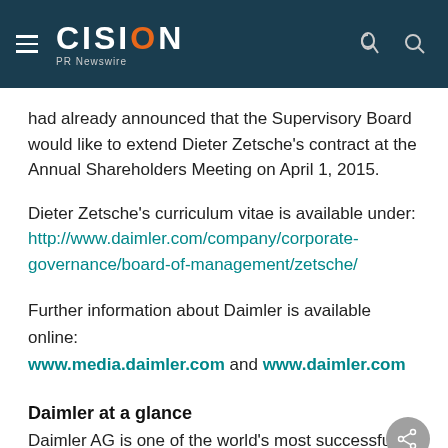CISION PR Newswire
had already announced that the Supervisory Board would like to extend Dieter Zetsche's contract at the Annual Shareholders Meeting on April 1, 2015.
Dieter Zetsche's curriculum vitae is available under: http://www.daimler.com/company/corporate-governance/board-of-management/zetsche/
Further information about Daimler is available online: www.media.daimler.com and www.daimler.com
Daimler at a glance
Daimler AG is one of the world's most successful